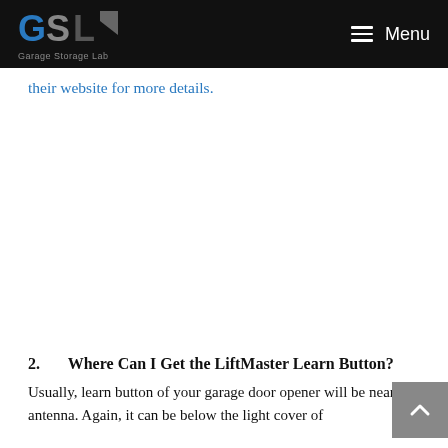Garage Storage Lab — Menu
their website for more details.
2.   Where Can I Get the LiftMaster Learn Button?
Usually, learn button of your garage door opener will be near the antenna. Again, it can be below the light cover of